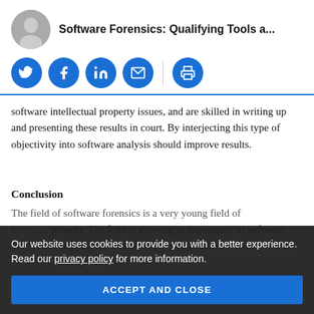Software Forensics: Qualifying Tools a...
[Figure (other): Social sharing icons: Twitter, Facebook, LinkedIn, Email, Print]
software intellectual property issues, and are skilled in writing up and presenting these results in court. By interjecting this type of objectivity into software analysis should improve results.
Conclusion
The field of software forensics is a very young field of s[tudy...] pioneer. The field is growing in importance as software becomes a major component of all of the modern
Our website uses cookies to provide you with a better experience. Read our privacy policy for more information.
ACCEPT AND CLOSE